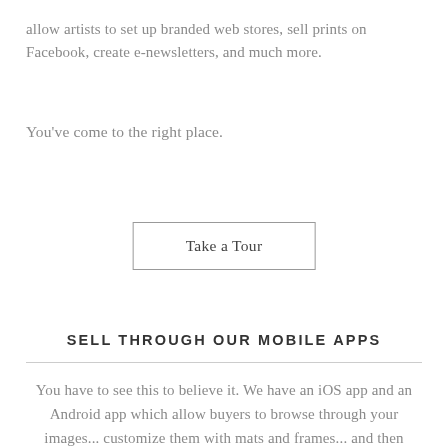allow artists to set up branded web stores, sell prints on Facebook, create e-newsletters, and much more.
You've come to the right place.
Take a Tour
SELL THROUGH OUR MOBILE APPS
You have to see this to believe it. We have an iOS app and an Android app which allow buyers to browse through your images... customize them with mats and frames... and then preview the finished artwork hanging on their own walls using their mobile